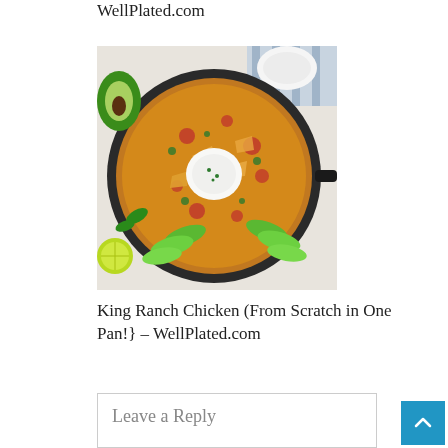WellPlated.com
[Figure (photo): A cast iron skillet filled with King Ranch Chicken topped with melted cheese, tomatoes, green herbs, sliced avocado arranged around the edges, and a dollop of sour cream in the center. Avocado halves and lime wedges visible around the pan.]
King Ranch Chicken (From Scratch in One Pan!} – WellPlated.com
Leave a Reply